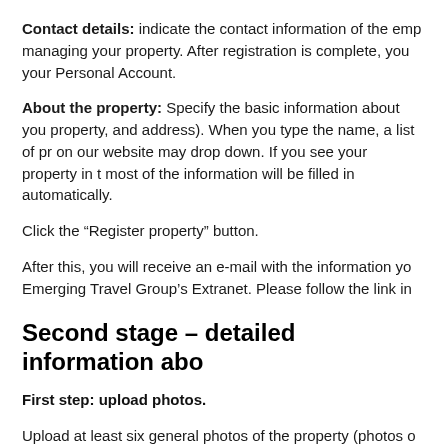Contact details: indicate the contact information of the emp managing your property. After registration is complete, you your Personal Account.
About the property: Specify the basic information about you property, and address). When you type the name, a list of pr on our website may drop down. If you see your property in t most of the information will be filled in automatically.
Click the “Register property” button.
After this, you will receive an e-mail with the information yo Emerging Travel Group’s Extranet. Please follow the link in
Second stage – detailed information abo
First step: upload photos.
Upload at least six general photos of the property (photos o reception desk, and other common areas).
Second step: specify the amenities that guests are provided